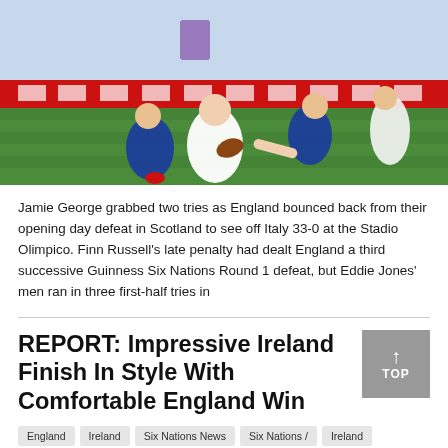[Figure (photo): Rugby match photo showing England player in white kit carrying the ball being tackled by Italian players in blue at the Stadio Olimpico. Red advertising hoardings visible in background.]
Jamie George grabbed two tries as England bounced back from their opening day defeat in Scotland to see off Italy 33-0 at the Stadio Olimpico. Finn Russell's late penalty had dealt England a third successive Guinness Six Nations Round 1 defeat, but Eddie Jones' men ran in three first-half tries in
REPORT: Impressive Ireland Finish In Style With Comfortable England Win